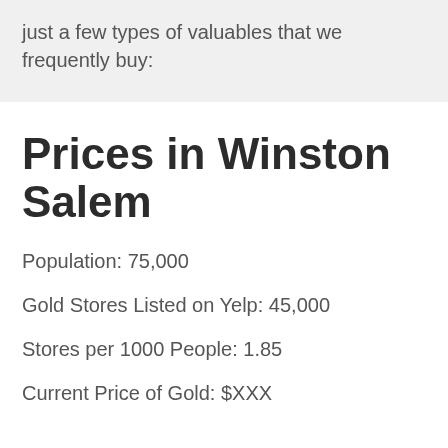just a few types of valuables that we frequently buy:
Prices in Winston Salem
Population: 75,000
Gold Stores Listed on Yelp: 45,000
Stores per 1000 People: 1.85
Current Price of Gold: $XXX